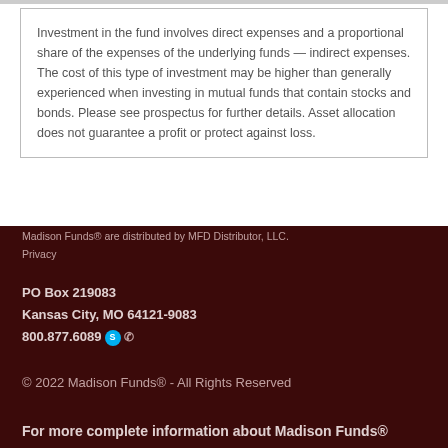Investment in the fund involves direct expenses and a proportional share of the expenses of the underlying funds — indirect expenses. The cost of this type of investment may be higher than generally experienced when investing in mutual funds that contain stocks and bonds. Please see prospectus for further details. Asset allocation does not guarantee a profit or protect against loss.
Madison Funds® are distributed by MFD Distributor, LLC.
Privacy

PO Box 219083
Kansas City, MO 64121-9083
800.877.6089

© 2022 Madison Funds® - All Rights Reserved

For more complete information about Madison Funds®